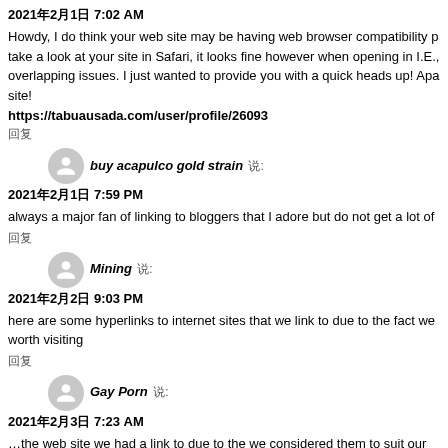2021年2月1日 7:02 AM
Howdy, I do think your web site may be having web browser compatibility p… take a look at your site in Safari, it looks fine however when opening in I.E., overlapping issues. I just wanted to provide you with a quick heads up! Apa… site!
https://tabuausada.com/user/profile/26093
回复
buy acapulco gold strain 说:
2021年2月1日 7:59 PM
always a major fan of linking to bloggers that I adore but do not get a lot of…
回复
Mining 说:
2021年2月2日 9:03 PM
here are some hyperlinks to internet sites that we link to due to the fact we… worth visiting
回复
Gay Porn 说:
2021年2月3日 7:23 AM
…the web site we had a link to due to the we considered them to suit our int…